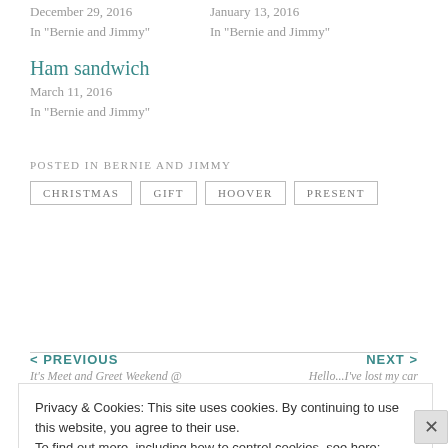December 29, 2016
In "Bernie and Jimmy"
January 13, 2016
In "Bernie and Jimmy"
Ham sandwich
March 11, 2016
In "Bernie and Jimmy"
POSTED IN BERNIE AND JIMMY
CHRISTMAS
GIFT
HOOVER
PRESENT
< PREVIOUS
It's Meet and Greet Weekend @
NEXT >
Hello...I've lost my car
Privacy & Cookies: This site uses cookies. By continuing to use this website, you agree to their use.
To find out more, including how to control cookies, see here: Cookie Policy
Close and accept